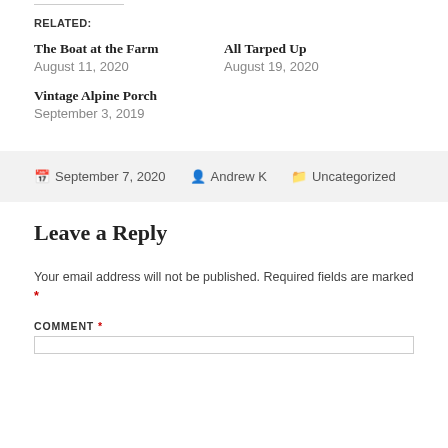RELATED:
The Boat at the Farm
August 11, 2020
All Tarped Up
August 19, 2020
Vintage Alpine Porch
September 3, 2019
September 7, 2020   Andrew K   Uncategorized
Leave a Reply
Your email address will not be published. Required fields are marked *
COMMENT *